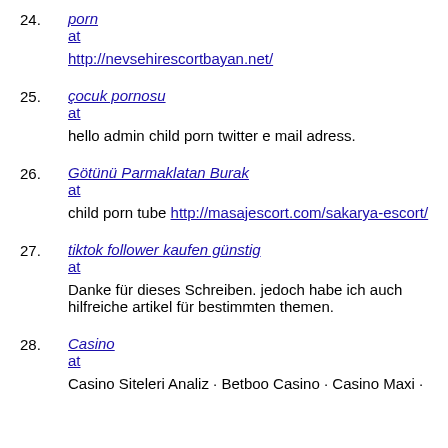24. porn at
http://nevsehirescortbayan.net/
25. çocuk pornosu at
hello admin child porn twitter e mail adress.
26. Götünü Parmaklatan Burak at
child porn tube http://masajescort.com/sakarya-escort/
27. tiktok follower kaufen günstig at
Danke für dieses Schreiben. jedoch habe ich auch hilfreiche artikel für bestimmten themen.
28. Casino at
Casino Siteleri Analiz · Betboo Casino · Casino Maxi ·